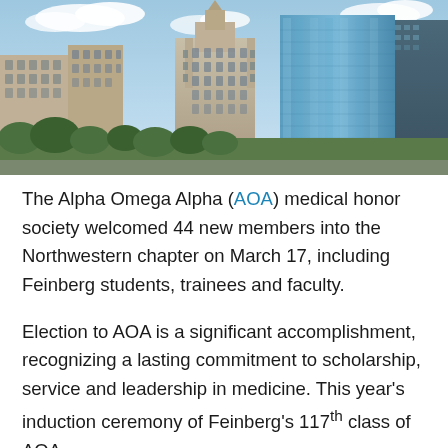[Figure (photo): Aerial/street-level view of Chicago downtown skyline with tall skyscrapers including a gothic-style building and modern glass towers, with green trees in the foreground and blue sky with clouds.]
The Alpha Omega Alpha (AOA) medical honor society welcomed 44 new members into the Northwestern chapter on March 17, including Feinberg students, trainees and faculty.
Election to AOA is a significant accomplishment, recognizing a lasting commitment to scholarship, service and leadership in medicine. This year's induction ceremony of Feinberg's 117th class of AOA